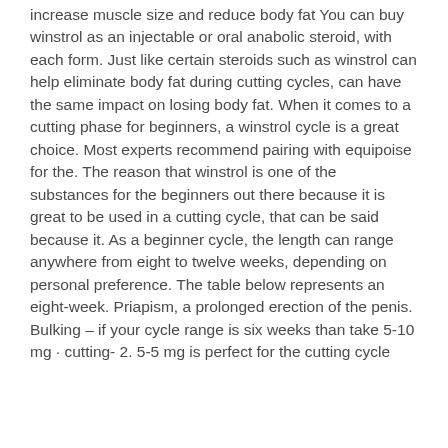increase muscle size and reduce body fat You can buy winstrol as an injectable or oral anabolic steroid, with each form. Just like certain steroids such as winstrol can help eliminate body fat during cutting cycles, can have the same impact on losing body fat. When it comes to a cutting phase for beginners, a winstrol cycle is a great choice. Most experts recommend pairing with equipoise for the. The reason that winstrol is one of the substances for the beginners out there because it is great to be used in a cutting cycle, that can be said because it. As a beginner cycle, the length can range anywhere from eight to twelve weeks, depending on personal preference. The table below represents an eight-week. Priapism, a prolonged erection of the penis. Bulking – if your cycle range is six weeks than take 5-10 mg · cutting- 2. 5-5 mg is perfect for the cutting cycle